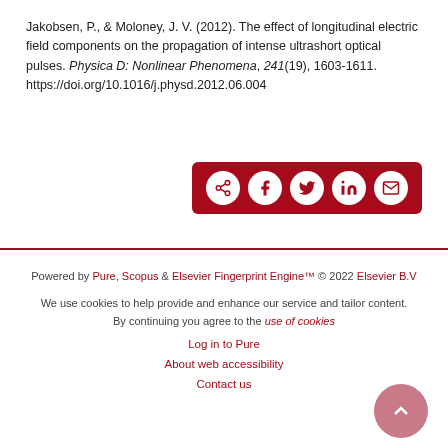Jakobsen, P., & Moloney, J. V. (2012). The effect of longitudinal electric field components on the propagation of intense ultrashort optical pulses. Physica D: Nonlinear Phenomena, 241(19), 1603-1611. https://doi.org/10.1016/j.physd.2012.06.004
[Figure (other): Share bar with dark red background containing share icon and social media icons (Facebook, Twitter, LinkedIn, Email) as white circles]
Powered by Pure, Scopus & Elsevier Fingerprint Engine™ © 2022 Elsevier B.V

We use cookies to help provide and enhance our service and tailor content. By continuing you agree to the use of cookies

Log in to Pure

About web accessibility

Contact us